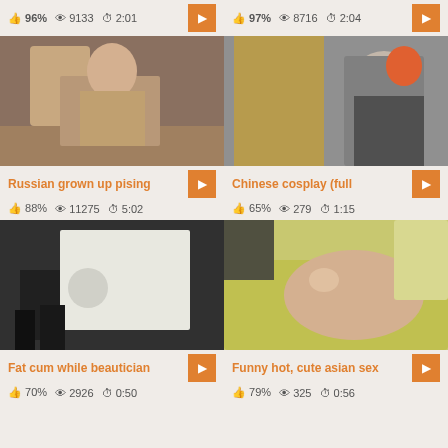96% 9133 2:01
97% 8716 2:04
[Figure (photo): Woman sitting on steps outdoors]
[Figure (photo): Two people in cosplay clown costumes]
Russian grown up pising
88% 11275 5:02
Chinese cosplay (full
65% 279 1:15
[Figure (photo): Close up shot with lamp and equipment]
[Figure (photo): Woman lying on yellow couch smiling]
Fat cum while beautician
70% 2926 0:50
Funny hot, cute asian sex
79% 325 0:56